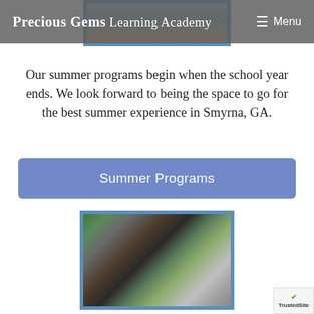Precious Gems Learning Academy  ☰ Menu
[Figure (photo): Partial photo of children visible at top of page behind the navigation header]
Our summer programs begin when the school year ends. We look forward to being the space to go for the best summer experience in Smyrna, GA.
Summer Programs
[Figure (photo): Two excited children raising their arms in front of a laptop computer in a classroom setting]